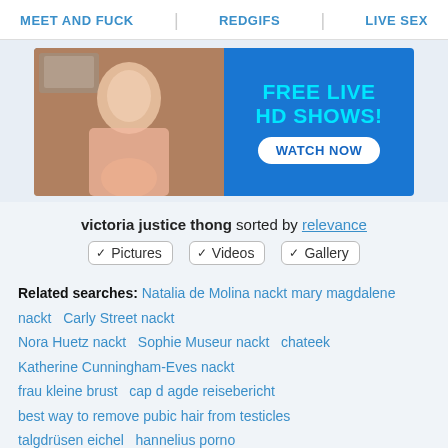MEET AND FUCK   REDGIFS   LIVE SEX
[Figure (photo): Advertisement banner: left side shows a woman in pink lingerie in a room, right side shows blue background with cyan text 'FREE LIVE HD SHOWS!' and white button 'WATCH NOW']
victoria justice thong sorted by relevance
✓ Pictures  ✓ Videos  ✓ Gallery
Related searches: Natalia de Molina nackt  mary magdalene nackt   Carly Street nackt  Nora Huetz nackt   Sophie Museur nackt   chateek  Katherine Cunningham-Eves nackt  frau kleine brust   cap d agde reisebericht  best way to remove pubic hair from testicles  talgdrüsen eichel   hannelius porno